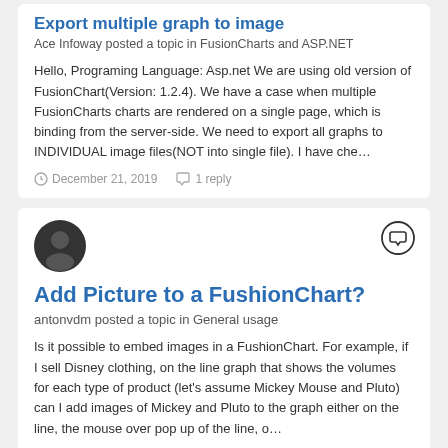Export multiple graph to image
Ace Infoway posted a topic in FusionCharts and ASP.NET
Hello, Programing Language: Asp.net We are using old version of FusionChart(Version: 1.2.4). We have a case when multiple FusionCharts charts are rendered on a single page, which is binding from the server-side. We need to export all graphs to INDIVIDUAL image files(NOT into single file). I have che…
December 21, 2019   1 reply
Add Picture to a FushionChart?
antonvdm posted a topic in General usage
Is it possible to embed images in a FushionChart. For example, if I sell Disney clothing, on the line graph that shows the volumes for each type of product (let's assume Mickey Mouse and Pluto) can I add images of Mickey and Pluto to the graph either on the line, the mouse over pop up of the line, o…